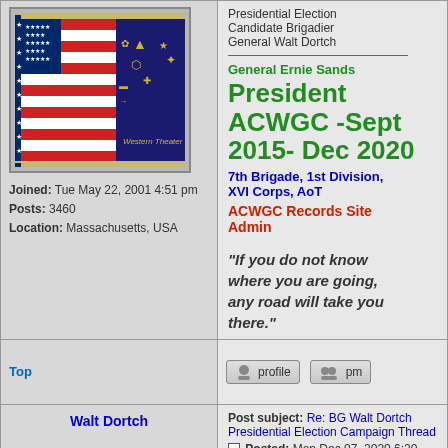[Figure (photo): Avatar image showing Western Theater military flag/banner with US flag, acorn/military symbols, and text 'Western Theater']
Joined: Tue May 22, 2001 4:51 pm
Posts: 3460
Location: Massachusetts, USA
Presidential Election Candidate Brigadier General Walt Dortch
General Ernie Sands
President ACWGC -Sept 2015- Dec 2020
7th Brigade, 1st Division, XVI Corps, AoT
ACWGC Records Site Admin
"If you do not know where you are going, any road will take you there."
Top
Walt Dortch
Post subject: Re: BG Walt Dortch Presidential Election Campaign Thread
Posted: Mon Dec 07, 2020 6:20